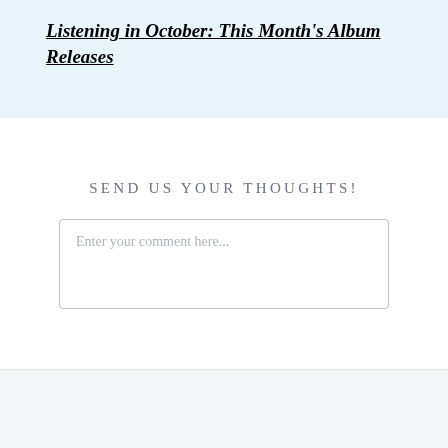Listening in October: This Month's Album Releases
SEND US YOUR THOUGHTS!
Enter your comment here...